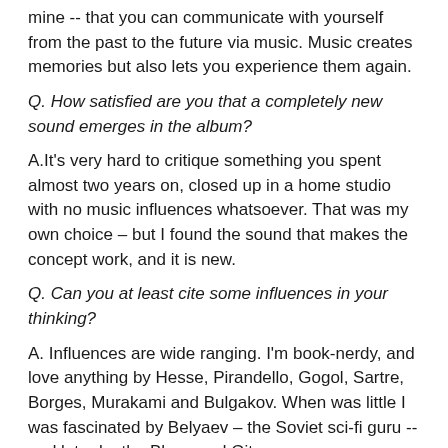mine -- that you can communicate with yourself from the past to the future via music. Music creates memories but also lets you experience them again.
Q. How satisfied are you that a completely new sound emerges in the album?
A.It's very hard to critique something you spent almost two years on, closed up in a home studio with no music influences whatsoever. That was my own choice – but I found the sound that makes the concept work, and it is new.
Q. Can you at least cite some influences in your thinking?
A. Influences are wide ranging. I'm book-nerdy, and love anything by Hesse, Pirandello, Gogol, Sartre, Borges, Murakami and Bulgakov. When was little I was fascinated by Belyaev – the Soviet sci-fi guru -- and later by the Bhagavad Gita.
Q. And music influences?